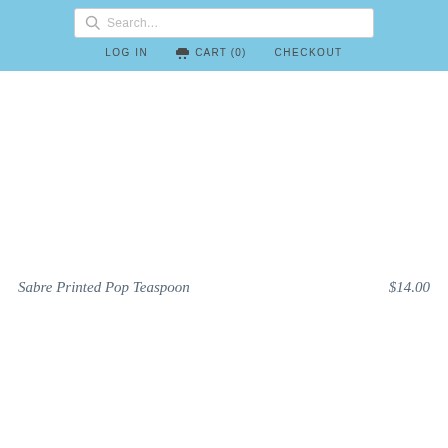Search... LOG IN  CART (0)  CHECKOUT
[Figure (other): Product image area (blank/white) for Sabre Printed Pop Teaspoon]
Sabre Printed Pop Teaspoon    $14.00